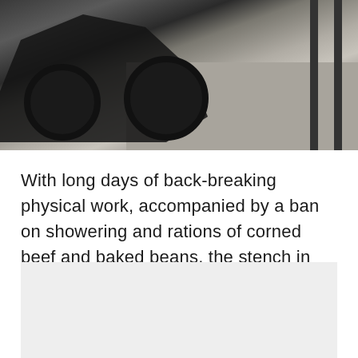[Figure (photo): Black and white photo of an old cannon on wheels (dark metal, spoked wheels) positioned on stone pavement, with vertical metal rods/railings visible on the right and a stone wall in the background.]
With long days of back-breaking physical work, accompanied by a ban on showering and rations of corned beef and baked beans, the stench in such a confined space is easy to imagine.
[Figure (photo): Partially visible or loading image block at the bottom of the page (light gray placeholder).]